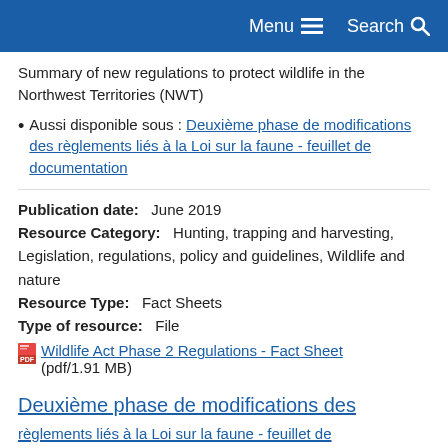Menu  Search
Summary of new regulations to protect wildlife in the Northwest Territories (NWT)
Aussi disponible sous : Deuxième phase de modifications des règlements liés à la Loi sur la faune - feuillet de documentation
Publication date:   June 2019
Resource Category:   Hunting, trapping and harvesting, Legislation, regulations, policy and guidelines, Wildlife and nature
Resource Type:   Fact Sheets
Type of resource:   File
Wildlife Act Phase 2 Regulations - Fact Sheet (pdf/1.91 MB)
Deuxième phase de modifications des règlements liés à la Loi sur la faune - feuillet de